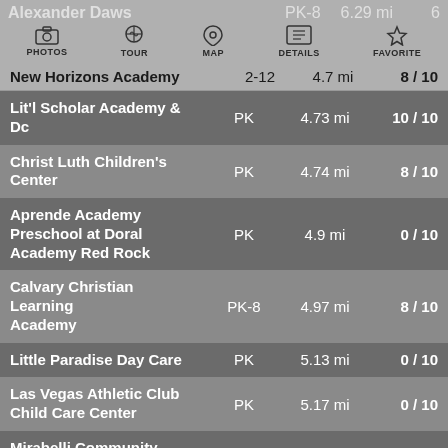| School Name | Grade | Distance | Rating |
| --- | --- | --- | --- |
| Alexander Dawson School | PK-8 | 6.29 mi | 6/10 |
| New Horizons Academy | 2-12 | 4.7 mi | 8/10 |
| Lit'l Scholar Academy & Dc | PK | 4.73 mi | 10 / 10 |
| Christ Luth Children's Center | PK | 4.74 mi | 8 / 10 |
| Aprende Academy Preschool at Doral Academy Red Rock | PK | 4.9 mi | 0 / 10 |
| Calvary Christian Learning Academy | PK-8 | 4.97 mi | 8 / 10 |
| Little Paradise Day Care | PK | 5.13 mi | 0 / 10 |
| Las Vegas Athletic Club Child Care Center | PK | 5.17 mi | 0 / 10 |
| Mirabelli Community Child Care Center | PK | 5.2 mi | 10 / 10 |
| Journey Education | K-8 | 5.23 mi | 10 / |
| Fellowship Christian Day S... | PK | 5.27 mi | 0 / 10 |